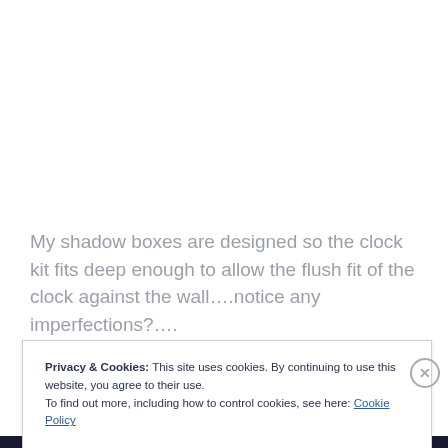My shadow boxes are designed so the clock kit fits deep enough to allow the flush fit of the clock against the wall….notice any imperfections?….
Privacy & Cookies: This site uses cookies. By continuing to use this website, you agree to their use.
To find out more, including how to control cookies, see here: Cookie Policy
Close and accept